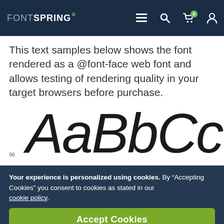FONTSPRING
This text samples below shows the font rendered as a @font-face web font and allows testing of rendering quality in your target browsers before purchase.
[Figure (other): Large italic font preview showing characters 'AaBbCcDd' at size 96, partially cropped on right edge]
Your experience is personalized using cookies. By “Accepting Cookies” you consent to cookies as stated in our cookie policy.
Accept Cookies